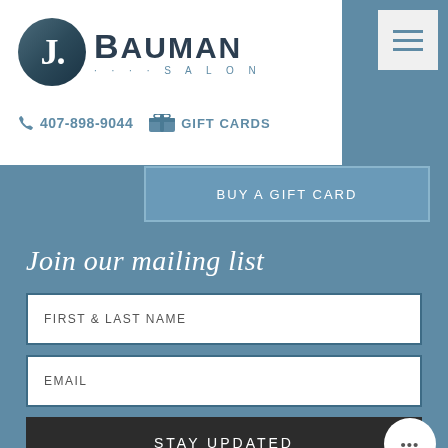[Figure (logo): J. Bauman Salon logo with dark circular emblem containing letter J and salon name text]
407-898-9044
GIFT CARDS
BUY A GIFT CARD
Join our mailing list
FIRST & LAST NAME
EMAIL
STAY UPDATED